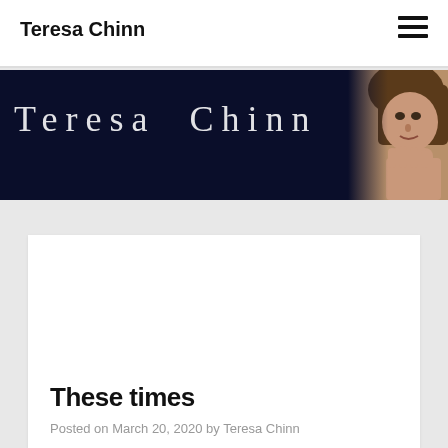Teresa Chinn
[Figure (photo): Teresa Chinn website banner with dark navy background, large spaced-out text 'Teresa Chinn' in light serif font, and a partial photo of a woman with chin resting on hand on the right side]
These times
Posted on March 20, 2020 by Teresa Chinn